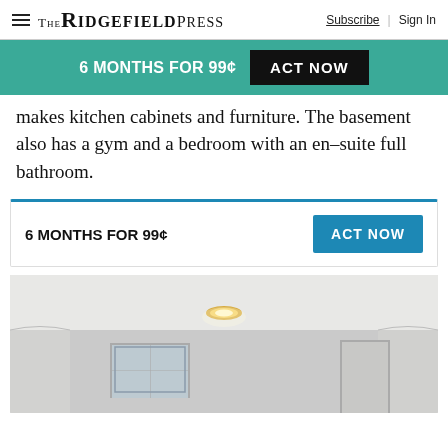The Ridgefield Press  Subscribe  Sign In
6 MONTHS FOR 99¢  ACT NOW
makes kitchen cabinets and furniture. The basement also has a gym and a bedroom with an en-suite full bathroom.
6 MONTHS FOR 99¢  ACT NOW
[Figure (photo): Interior room photo showing white ceiling with recessed light fixture, crown molding, and partial view of walls and window.]